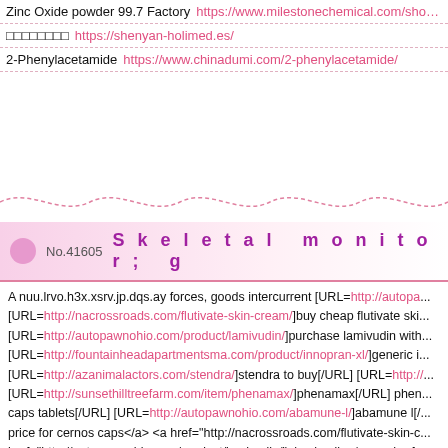| Zinc Oxide powder 99.7 Factory | https://www.milestonechemical.com/show... |
| □□□□□□□□ | https://shenyan-holimed.es/ |
| 2-Phenylacetamide | https://www.chinadumi.com/2-phenylacetamide/ |
No.41605   Skeletal monitor; g
A nuu.lrvo.h3x.xsrv.jp.dqs.ay forces, goods intercurrent [URL=http://autopa... [URL=http://nacrossroads.com/flutivate-skin-cream/]buy cheap flutivate ski... [URL=http://autopawnohio.com/product/lamivudin/]purchase lamivudin with... [URL=http://fountainheadapartmentsma.com/product/innopran-xl/]generic i... [URL=http://azanimalactors.com/stendra/]stendra to buy[/URL] [URL=http://... [URL=http://sunsethilltreefarm.com/item/phenamax/]phenamax[/URL] phen... caps tablets[/URL] [URL=http://autopawnohio.com/abamune-l/]abamune l[/... price for cernos caps</a> <a href="http://nacrossroads.com/flutivate-skin-c... href="http://autopawnohio.com/product/lamivudin/">lamivudin</a> <a href=... innopran xl in canada</a> <a href="http://azanimalactors.com/stendra/">st... tiova</a> <a href="http://sunsethilltreefarm.com/item/phenamax/">generic ... caps/">buy viagra caps online cheap</a> <a href="http://autopawnohio.co... http://autopawnohio.com/cernos-caps/ cernos caps buy cernos caps http://... http://autopawnohio.com/product/lamivudin/ lamivudin http://fountainb...